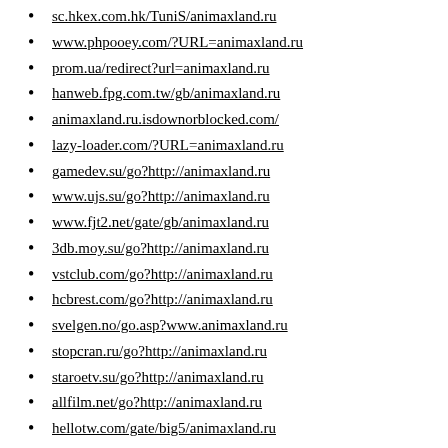sc.hkex.com.hk/TuniS/animaxland.ru
www.phpooey.com/?URL=animaxland.ru
prom.ua/redirect?url=animaxland.ru
hanweb.fpg.com.tw/gb/animaxland.ru
animaxland.ru.isdownorblocked.com/
lazy-loader.com/?URL=animaxland.ru
gamedev.su/go?http://animaxland.ru
www.ujs.su/go?http://animaxland.ru
www.fjt2.net/gate/gb/animaxland.ru
3db.moy.su/go?http://animaxland.ru
vstclub.com/go?http://animaxland.ru
hcbrest.com/go?http://animaxland.ru
svelgen.no/go.asp?www.animaxland.ru
stopcran.ru/go?http://animaxland.ru
staroetv.su/go?http://animaxland.ru
allfilm.net/go?http://animaxland.ru
hellotw.com/gate/big5/animaxland.ru
rafmedia.ru/r.php?url=animaxland.ru
zaim.moy.su/go?http://animaxland.ru